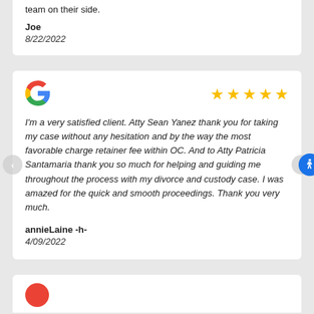team on their side.
Joe
8/22/2022
[Figure (logo): Google G logo (multicolor red, yellow, green, blue)]
[Figure (other): 5 gold star rating]
I'm a very satisfied client. Atty Sean Yanez thank you for taking my case without any hesitation and by the way the most favorable charge retainer fee within OC. And to Atty Patricia Santamaria thank you so much for helping and guiding me throughout the process with my divorce and custody case. I was amazed for the quick and smooth proceedings. Thank you very much.
annieLaine -h-
4/09/2022